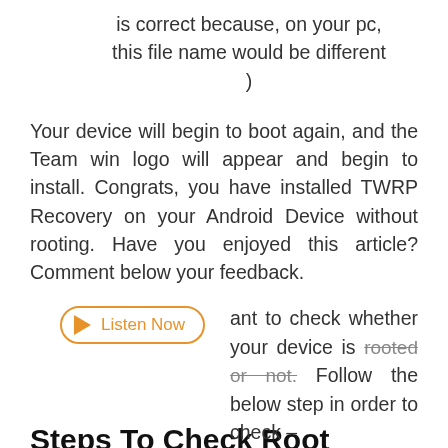is correct because, on your pc, this file name would be different )
Your device will begin to boot again, and the Team win logo will appear and begin to install. Congrats, you have installed TWRP Recovery on your Android Device without rooting. Have you enjoyed this article? Comment below your feedback.
[Figure (other): Listen Now button with orange play icon and orange border]
ant to check whether your device is rooted or not. Follow the below step in order to check –
Steps To Check Root Status